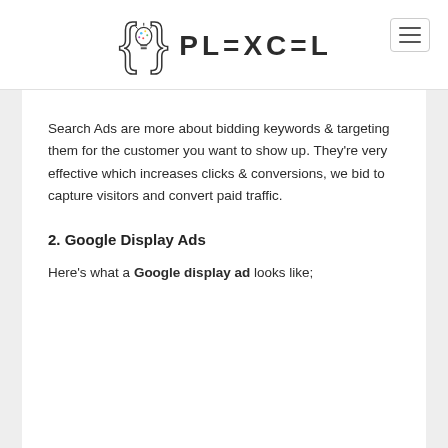PLEXCEL
Search Ads are more about bidding keywords & targeting them for the customer you want to show up. They're very effective which increases clicks & conversions, we bid to capture visitors and convert paid traffic.
2. Google Display Ads
Here's what a Google display ad looks like;